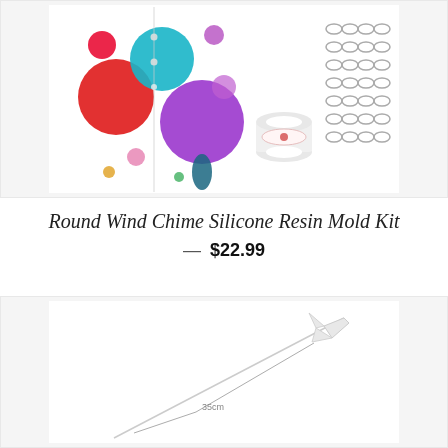[Figure (photo): Round Wind Chime Silicone Resin Mold Kit product image showing colorful round resin molds in various sizes (red, purple, teal, blue), a spool of clear string, and a strip of oval/oblong clear silicone molds]
Round Wind Chime Silicone Resin Mold Kit
— $22.99
[Figure (photo): Arrow-shaped stirring tool or needle tool approximately 35cm long with a white arrow-shaped handle/top, shown diagonally with a 35cm measurement label]